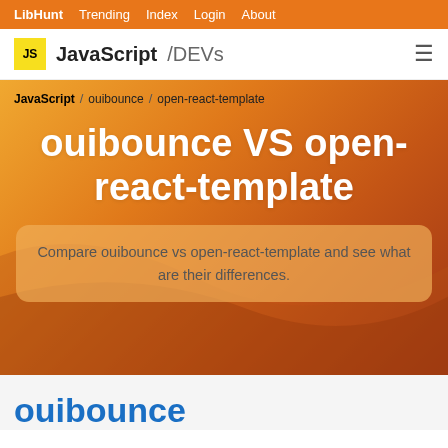LibHunt  Trending  Index  Login  About
JavaScript /DEVs
JavaScript / ouibounce / open-react-template
ouibounce VS open-react-template
Compare ouibounce vs open-react-template and see what are their differences.
ouibounce